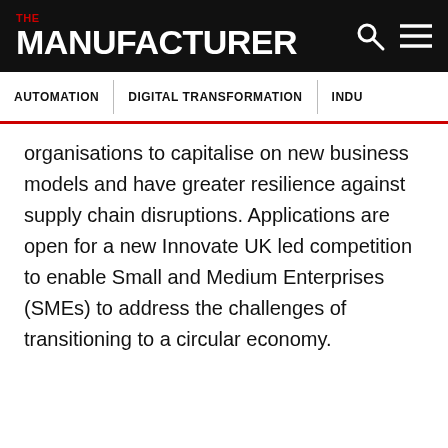THE MANUFACTURER
AUTOMATION | DIGITAL TRANSFORMATION | INDU...
organisations to capitalise on new business models and have greater resilience against supply chain disruptions. Applications are open for a new Innovate UK led competition to enable Small and Medium Enterprises (SMEs) to address the challenges of transitioning to a circular economy.